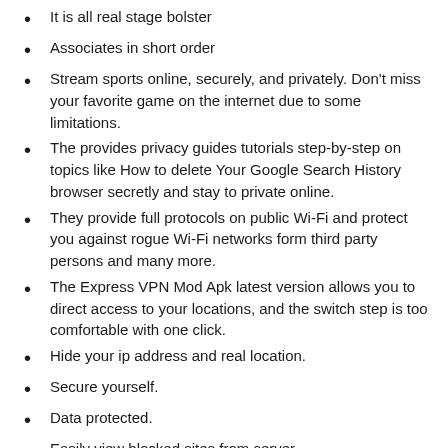It is all real stage bolster
Associates in short order
Stream sports online, securely, and privately. Don't miss your favorite game on the internet due to some limitations.
The provides privacy guides tutorials step-by-step on topics like How to delete Your Google Search History browser secretly and stay to private online.
They provide full protocols on public Wi-Fi and protect you against rogue Wi-Fi networks form third party persons and many more.
The Express VPN Mod Apk latest version allows you to direct access to your locations, and the switch step is too comfortable with one click.
Hide your ip address and real location.
Secure yourself.
Data protected.
Easily view blocked sites from server.